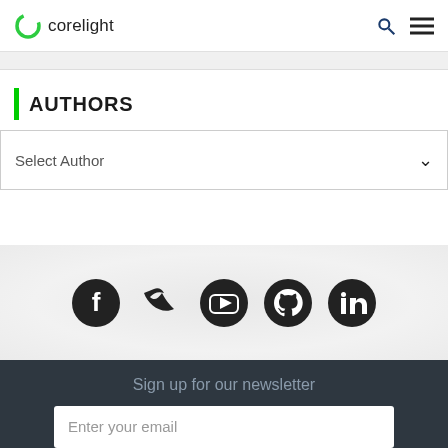corelight
AUTHORS
Select Author
[Figure (infographic): Social media icons row: Facebook, Twitter, YouTube, GitHub, LinkedIn — dark circular icons on light gray radial background]
Sign up for our newsletter
Enter your email